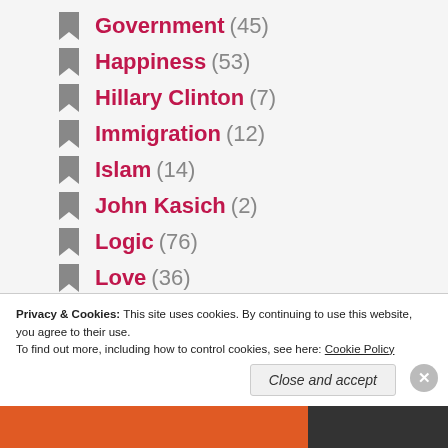Government (45)
Happiness (53)
Hillary Clinton (7)
Immigration (12)
Islam (14)
John Kasich (2)
Logic (76)
Love (36)
Marijuana (2)
Marriage (27)
Privacy & Cookies: This site uses cookies. By continuing to use this website, you agree to their use. To find out more, including how to control cookies, see here: Cookie Policy
Close and accept